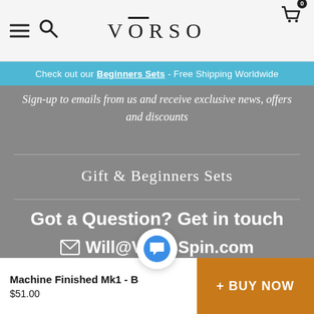VŌRSО - navigation header with hamburger menu, search icon, logo, and cart (0)
Check out our Beginners Sets - Free Shipping Worldwide
Sign-up to emails from us and receive exclusive news, offers and discounts
Gift & Beginners Sets
Got a Question? Get in touch
✉ Will@VorsoSpin.com
Mon-Sat 9am-6pm
Machine Finished Mk1 - B...
$51.00
+ BUY NOW